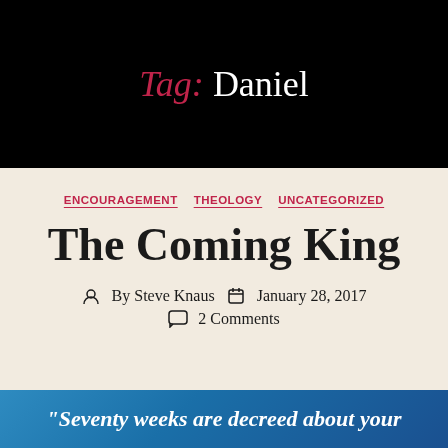Tag: Daniel
ENCOURAGEMENT  THEOLOGY  UNCATEGORIZED
The Coming King
By Steve Knaus  January 28, 2017  2 Comments
"Seventy weeks are decreed about your